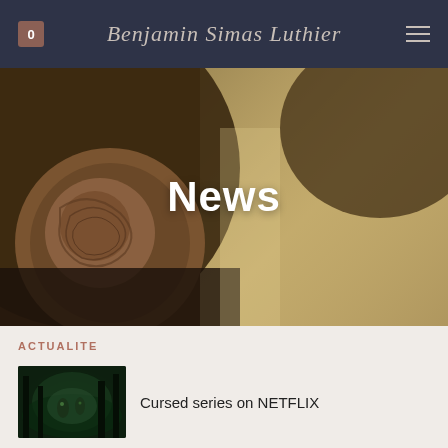Benjamin Simas Luthier
[Figure (photo): Close-up photo of a carved wooden violin scroll and body, warm brown and cream tones, with the word 'News' overlaid in large white bold text.]
ACTUALITE
Cursed series on NETFLIX